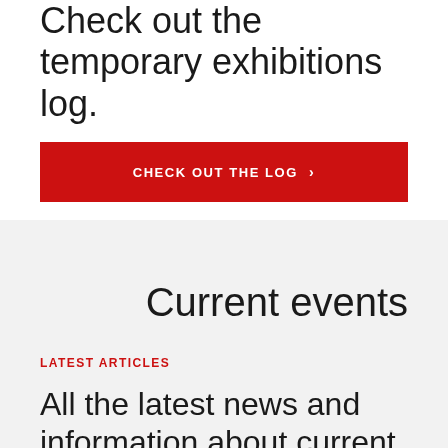Check out the temporary exhibitions log.
CHECK OUT THE LOG ›
Current events
LATEST ARTICLES
All the latest news and information about current exhibits